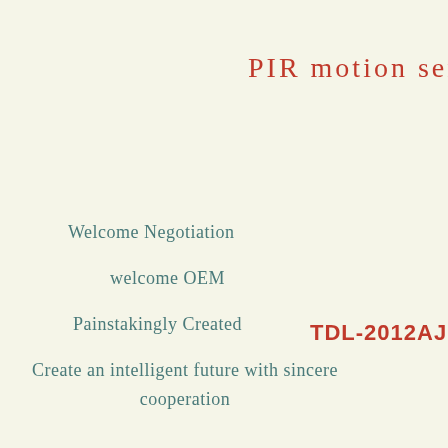PIR motion senso
Welcome Negotiation
welcome OEM
Painstakingly Created
Create an intelligent future with sincere cooperation
TDL-2012AJ
TDL-2100AJ